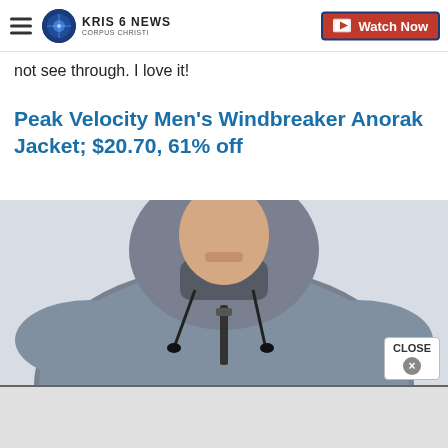KRIS 6 NEWS CORPUS CHRISTI | Watch Now
not see through. I love it!
Peak Velocity Men's Windbreaker Anorak Jacket; $20.70, 61% off
[Figure (photo): Man wearing a grey heather Peak Velocity windbreaker anorak jacket with hood and drawstrings]
CLOSE